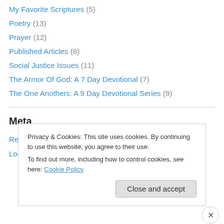My Favorite Scriptures (5)
Poetry (13)
Prayer (12)
Published Articles (8)
Social Justice Issues (11)
The Armor Of God: A 7 Day Devotional (7)
The One Anothers: A 9 Day Devotional Series (9)
Meta
Register
Log in
Privacy & Cookies: This site uses cookies. By continuing to use this website, you agree to their use. To find out more, including how to control cookies, see here: Cookie Policy
Close and accept